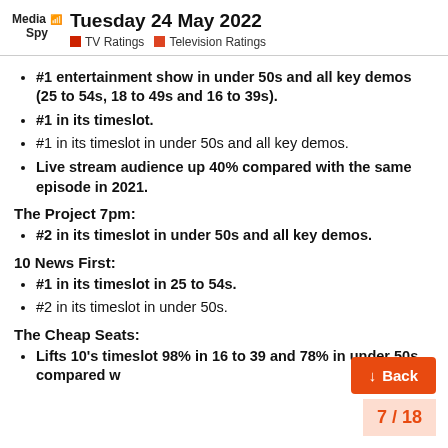Tuesday 24 May 2022 | TV Ratings | Television Ratings
#1 entertainment show in under 50s and all key demos (25 to 54s, 18 to 49s and 16 to 39s).
#1 in its timeslot.
#1 in its timeslot in under 50s and all key demos.
Live stream audience up 40% compared with the same episode in 2021.
The Project 7pm:
#2 in its timeslot in under 50s and all key demos.
10 News First:
#1 in its timeslot in 25 to 54s.
#2 in its timeslot in under 50s.
The Cheap Seats:
Lifts 10's timeslot 98% in 16 to 39 and 78% in under 50s, compared w